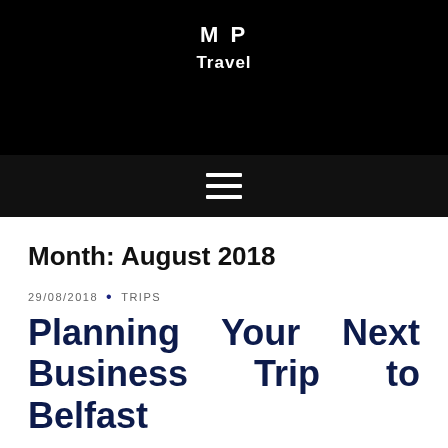M P
Travel
[Figure (other): Hamburger menu icon (three horizontal white lines on dark background)]
Month: August 2018
29/08/2018 • TRIPS
Planning Your Next Business Trip to Belfast
If your next business trip lands you in the fabulous city of